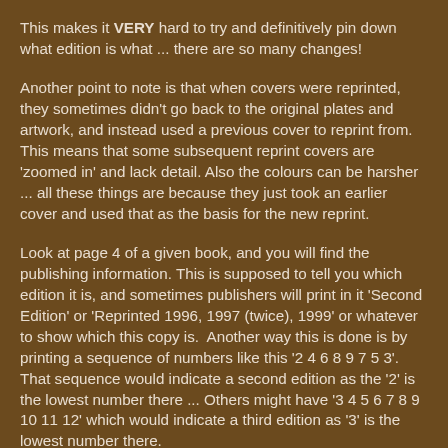This makes it VERY hard to try and definitively pin down what edition is what ... there are so many changes!
Another point to note is that when covers were reprinted, they sometimes didn't go back to the original plates and artwork, and instead used a previous cover to reprint from. This means that some subsequent reprint covers are 'zoomed in' and lack detail. Also the colours can be harsher ... all these things are because they just took an earlier cover and used that as the basis for the new reprint.
Look at page 4 of a given book, and you will find the publishing information. This is supposed to tell you which edition it is, and sometimes publishers will print in it 'Second Edition' or 'Reprinted 1996, 1997 (twice), 1999' or whatever to show which this copy is.  Another way this is done is by printing a sequence of numbers like this '2 4 6 8 9 7 5 3'. That sequence would indicate a second edition as the '2' is the lowest number there ... Others might have '3 4 5 6 7 8 9 10 11 12' which would indicate a third edition as '3' is the lowest number there.